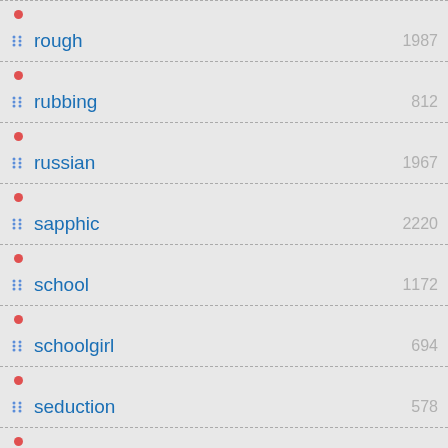rough 1987
rubbing 812
russian 1967
sapphic 2220
school 1172
schoolgirl 694
seduction 578
sensual
sex toy 1793
sexy japan 3872